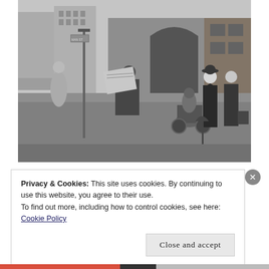[Figure (photo): Black and white street photograph showing several people on a city sidewalk. A person reading a newspaper in dark clothes, a man in a bowler hat and bow tie with an umbrella, a woman in a dark coat, a motorcyclist, and another figure near a building with a large arched entrance.]
Privacy & Cookies: This site uses cookies. By continuing to use this website, you agree to their use.
To find out more, including how to control cookies, see here: Cookie Policy
Close and accept